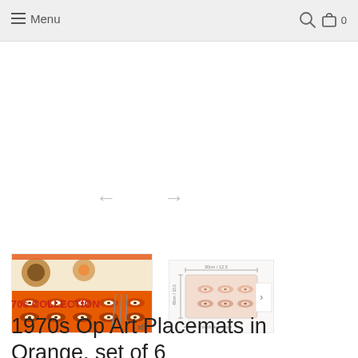Menu
[Figure (photo): Main product image area with left and right navigation arrows for an image carousel showing 1970s Op Art Placemats in Orange. Large white empty carousel area with grey left and right arrows.]
[Figure (photo): Thumbnail 1: Close-up of 1970s Op Art Placemats in Orange showing stacked placemats with orange/brown geometric pattern and cutlery, labeled x6]
[Figure (photo): Thumbnail 2: Dimension diagram of placemat showing size annotations (30cm / 12.5 and 40cm / 15.5) with placemat dimensions illustration and text 'place mat dimensions']
70s COLLECTION
1970s Op Art Placemats in Orange, set of 6